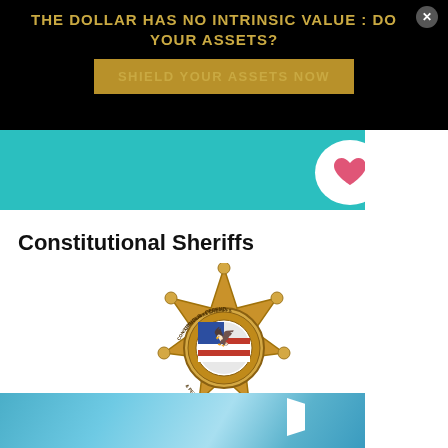THE DOLLAR HAS NO INTRINSIC VALUE : DO YOUR ASSETS?
SHIELD YOUR ASSETS NOW
[Figure (illustration): Teal banner image with a pink/red heart shape visible on white circular background]
Constitutional Sheriffs
[Figure (logo): Constitutional Sheriffs and Peace Officers Association badge - six-pointed gold star badge with eagle in center, text reading UPHOLD - DEFEND, CONSTITUTIONAL SHERIFFS, & PEACE OFFICERS ASSOCIATION, PROTECT - SERVE]
[Figure (photo): Bottom partial image strip with blue sky/flag background]